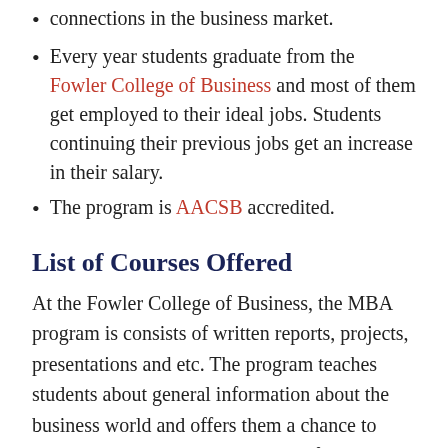connections in the business market.
Every year students graduate from the Fowler College of Business and most of them get employed to their ideal jobs. Students continuing their previous jobs get an increase in their salary.
The program is AACSB accredited.
List of Courses Offered
At the Fowler College of Business, the MBA program is consists of written reports, projects, presentations and etc. The program teaches students about general information about the business world and offers them a chance to specialize in their own perspective fields. The MBA program is made up of the following three